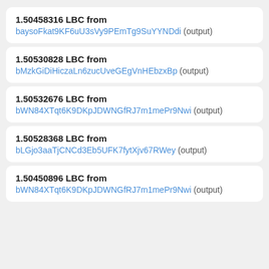1.50458316 LBC from baysoFkat9KF6uU3sVy9PEmTg9SuYYNDdi (output)
1.50530828 LBC from bMzkGiDiHiczaLn6zucUveGEgVnHEbzxBp (output)
1.50532676 LBC from bWN84XTqt6K9DKpJDWNGfRJ7m1mePr9Nwi (output)
1.50528368 LBC from bLGjo3aaTjCNCd3Eb5UFK7fytXjv67RWey (output)
1.50450896 LBC from bWN84XTqt6K9DKpJDWNGfRJ7m1mePr9Nwi (output)